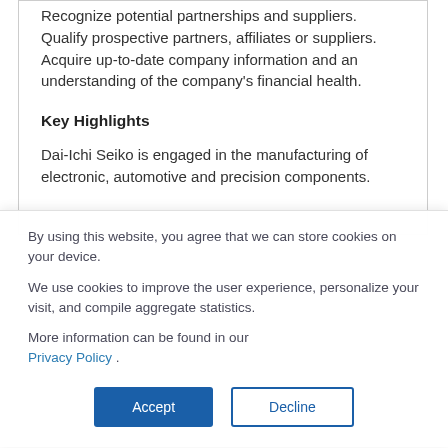Recognize potential partnerships and suppliers. Qualify prospective partners, affiliates or suppliers. Acquire up-to-date company information and an understanding of the company's financial health.
Key Highlights
Dai-Ichi Seiko is engaged in the manufacturing of electronic, automotive and precision components.
By using this website, you agree that we can store cookies on your device.

We use cookies to improve the user experience, personalize your visit, and compile aggregate statistics.

More information can be found in our Privacy Policy .
Accept
Decline